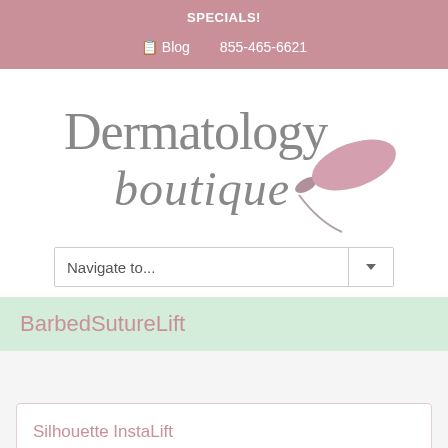SPECIALS!
Blog  855-465-6621
[Figure (logo): Dermatology boutique logo with script font and pink leaf illustration]
Navigate to...
BarbedSutureLift
Silhouette InstaLift